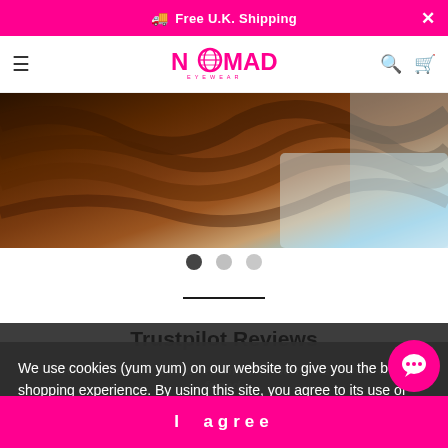🚚 Free U.K. Shipping ×
[Figure (logo): Nomad Eyewear logo in pink with stylized globe in the O]
[Figure (photo): Close-up photo of a person with brown wavy hair against a blue/white background]
96% of reviewers would recommend Nomad Eyewear to a friend.
Trustpilot Reviews
We use cookies (yum yum) on our website to give you the best shopping experience. By using this site, you agree to its use of cookies.
I agree